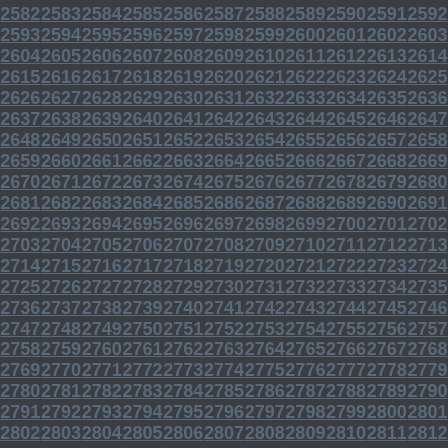2582 2583 2584 2585 2586 2587 2588 2589 2590 2591 2592 2593 2594 2595 2596 2597 2598 2599 2600 2601 2602 2603 2604 2605 2606 2607 2608 2609 2610 2611 2612 2613 2614 2615 2616 2617 2618 2619 2620 2621 2622 2623 2624 2625 2626 2627 2628 2629 2630 2631 2632 2633 2634 2635 2636 2637 2638 2639 2640 2641 2642 2643 2644 2645 2646 2647 2648 2649 2650 2651 2652 2653 2654 2655 2656 2657 2658 2659 2660 2661 2662 2663 2664 2665 2666 2667 2668 2669 2670 2671 2672 2673 2674 2675 2676 2677 2678 2679 2680 2681 2682 2683 2684 2685 2686 2687 2688 2689 2690 2691 2692 2693 2694 2695 2696 2697 2698 2699 2700 2701 2702 2703 2704 2705 2706 2707 2708 2709 2710 2711 2712 2713 2714 2715 2716 2717 2718 2719 2720 2721 2722 2723 2724 2725 2726 2727 2728 2729 2730 2731 2732 2733 2734 2735 2736 2737 2738 2739 2740 2741 2742 2743 2744 2745 2746 2747 2748 2749 2750 2751 2752 2753 2754 2755 2756 2757 2758 2759 2760 2761 2762 2763 2764 2765 2766 2767 2768 2769 2770 2771 2772 2773 2774 2775 2776 2777 2778 2779 2780 2781 2782 2783 2784 2785 2786 2787 2788 2789 2790 2791 2792 2793 2794 2795 2796 2797 2798 2799 2800 2801 2802 2803 2804 2805 2806 2807 2808 2809 2810 2811 2812